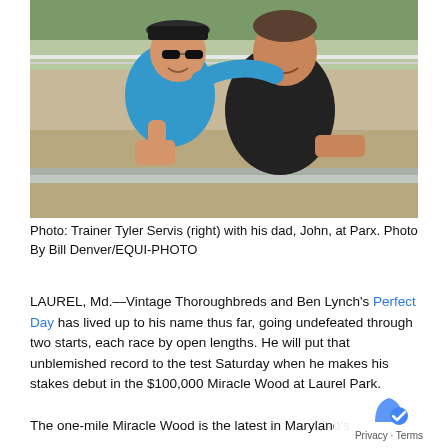[Figure (photo): Two men smiling at a racetrack. The man on the left wears a blue patterned shirt, sunglasses, and a cap, giving a thumbs up. The man on the right wears a black t-shirt and has his arm around the other man. Background shows a racetrack rail and sandy ground.]
Photo: Trainer Tyler Servis (right) with his dad, John, at Parx. Photo By Bill Denver/EQUI-PHOTO
LAUREL, Md.—Vintage Thoroughbreds and Ben Lynch's Perfect Day has lived up to his name thus far, going undefeated through two starts, each race by open lengths. He will put that unblemished record to the test Saturday when he makes his stakes debut in the $100,000 Miracle Wood at Laurel Park.
The one-mile Miracle Wood is the latest in Maryland's